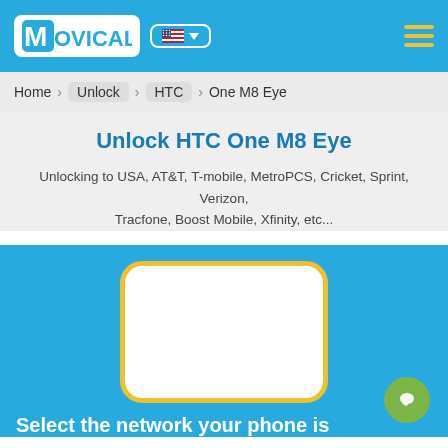Movical
Home > Unlock > HTC > One M8 Eye
Unlock HTC One M8 Eye
Unlocking to USA, AT&T, T-mobile, MetroPCS, Cricket, Sprint, Verizon, Tracfone, Boost Mobile, Xfinity, etc...
[Figure (screenshot): White rounded rectangle input box with yellow border inside a blue card]
Select the network your phone is locked to